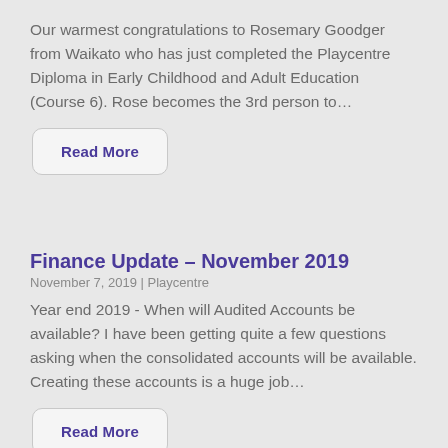Our warmest congratulations to Rosemary Goodger from Waikato who has just completed the Playcentre Diploma in Early Childhood and Adult Education (Course 6). Rose becomes the 3rd person to…
Read More
Finance Update – November 2019
November 7, 2019 | Playcentre
Year end 2019 - When will Audited Accounts be available? I have been getting quite a few questions asking when the consolidated accounts will be available. Creating these accounts is a huge job…
Read More